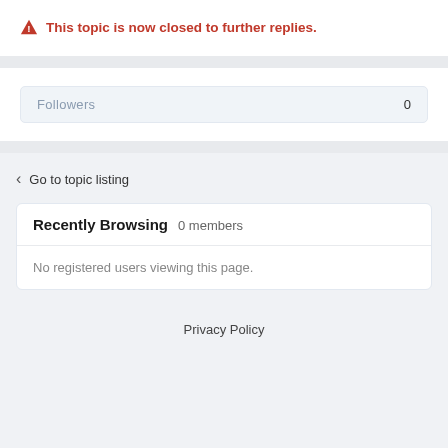⚠ This topic is now closed to further replies.
Followers   0
< Go to topic listing
Recently Browsing   0 members
No registered users viewing this page.
Privacy Policy